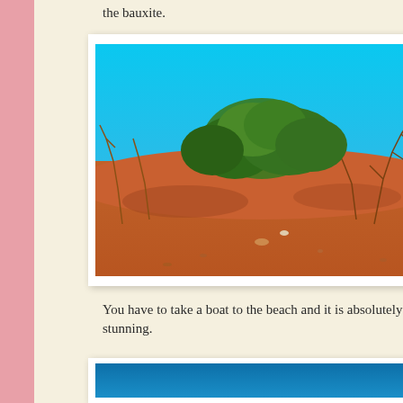the bauxite.
[Figure (photo): Outdoor scene showing red-orange sandy ground with sparse dry shrubs and green-leafed trees against a vivid blue sky. Appears to be a semi-arid or tropical landscape with red laterite/bauxite soil.]
You have to take a boat to the beach and it is absolutely stunning.
[Figure (photo): Partial view of another outdoor photo, showing a blue sky at the top.]